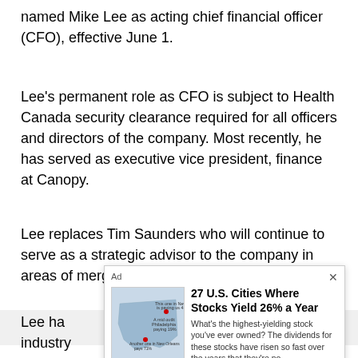named Mike Lee as acting chief financial officer (CFO), effective June 1.
Lee's permanent role as CFO is subject to Health Canada security clearance required for all officers and directors of the company. Most recently, he has served as executive vice president, finance at Canopy.
Lee replaces Tim Saunders who will continue to serve as a strategic advisor to the company in areas of mergers and acquisitions, financing and business transformation.
Lee has… industry… Winery,… served… Wine &…
[Figure (infographic): Advertisement overlay: '27 U.S. Cities Where Stocks Yield 26% a Year' with a US map image and description about high-yielding dividend stocks, plus a 'Get in on the action here.' button.]